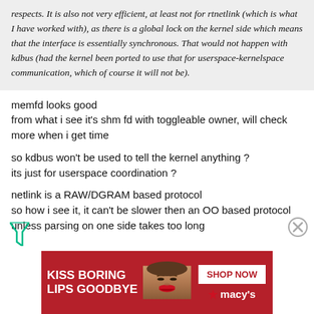respects. It is also not very efficient, at least not for rtnetlink (which is what I have worked with), as there is a global lock on the kernel side which means that the interface is essentially synchronous. That would not happen with kdbus (had the kernel been ported to use that for userspace-kernelspace communication, which of course it will not be).
memfd looks good
from what i see it's shm fd with toggleable owner, will check more when i get time
so kdbus won't be used to tell the kernel anything ?
its just for userspace coordination ?
netlink is a RAW/DGRAM based protocol
so how i see it, it can't be slower then an OO based protocol unless parsing on one side takes too long
[Figure (photo): Macy's advertisement banner: 'KISS BORING LIPS GOODBYE' with woman's face and SHOP NOW button with Macy's star logo]